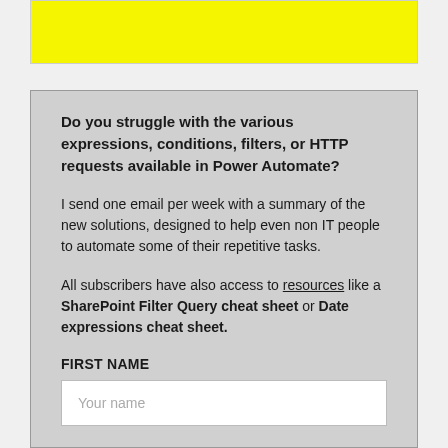[Figure (other): Yellow banner/header bar at the top of the page]
Do you struggle with the various expressions, conditions, filters, or HTTP requests available in Power Automate?
I send one email per week with a summary of the new solutions, designed to help even non IT people to automate some of their repetitive tasks.
All subscribers have also access to resources like a SharePoint Filter Query cheat sheet or Date expressions cheat sheet.
FIRST NAME
Your name